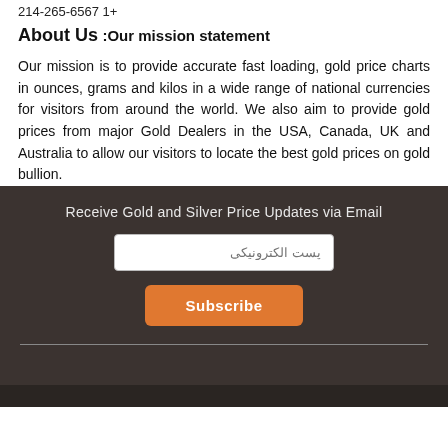214-265-6567 1+
About Us
:Our mission statement
Our mission is to provide accurate fast loading, gold price charts in ounces, grams and kilos in a wide range of national currencies for visitors from around the world. We also aim to provide gold prices from major Gold Dealers in the USA, Canada, UK and Australia to allow our visitors to locate the best gold prices on gold bullion.
Receive Gold and Silver Price Updates via Email